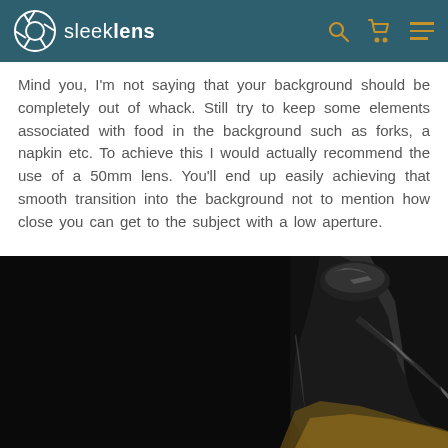sleeklens
Mind you, I'm not saying that your background should be completely out of whack. Still try to keep some elements associated with food in the background such as forks, a napkin etc. To achieve this I would actually recommend the use of a 50mm lens. You'll end up easily achieving that smooth transition into the background not to mention how close you can get to the subject with a low aperture.
[Figure (photo): Dark dramatic food photography photo showing a glass bottle stopper/pourer in close-up against a black background, with amber/golden liquid visible.]